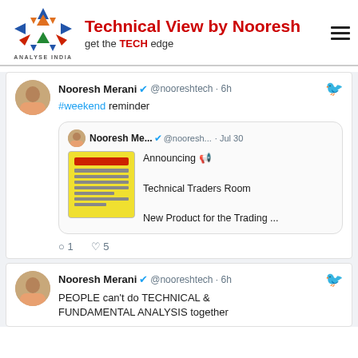[Figure (logo): Analyse India logo with colorful triangles and 'Technical View by Nooresh / get the TECH edge' header]
Nooresh Merani ✓ @nooreshtech · 6h
#weekend reminder
Nooresh Me... ✓ @nooresh... · Jul 30
Announcing 📢
Technical Traders Room
New Product for the Trading ...
💬 1  ♡ 5
Nooresh Merani ✓ @nooreshtech · 6h
PEOPLE can't do TECHNICAL & FUNDAMENTAL ANALYSIS together